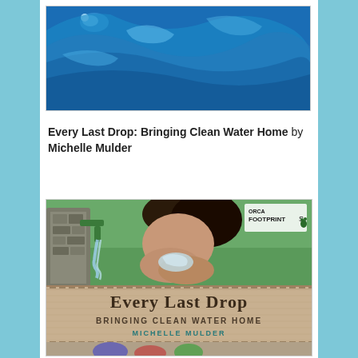[Figure (photo): Partial view of a book cover showing blue water/paint swirl design at top of page]
Every Last Drop: Bringing Clean Water Home by Michelle Mulder
[Figure (photo): Book cover of 'Every Last Drop: Bringing Clean Water Home' by Michelle Mulder (Orca Footprints). Shows a child drinking from an outdoor water faucet, with the book title on a burlap-textured banner below.]